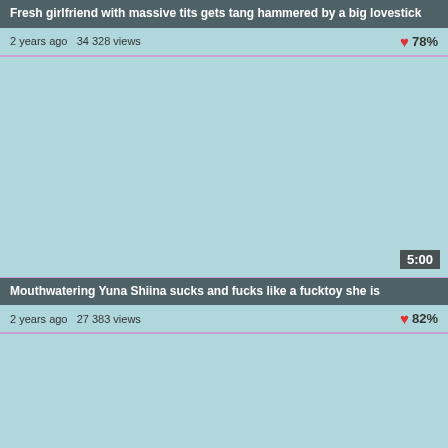Fresh girlfriend with massive tits gets tang hammered by a big lovestick
2 years ago  34 328 views  ❤ 78%
[Figure (screenshot): Video thumbnail placeholder, light blue, duration badge 5:00]
Mouthwatering Yuna Shiina sucks and fucks like a fucktoy she is
2 years ago  27 383 views  ❤ 82%
[Figure (screenshot): Video thumbnail placeholder, light blue, duration badge 6:00]